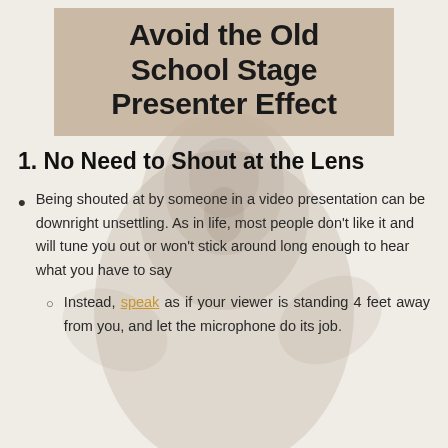Avoid the Old School Stage Presenter Effect
1. No Need to Shout at the Lens
Being shouted at by someone in a video presentation can be downright unsettling. As in life, most people don't like it and will tune you out or won't stick around long enough to hear what you have to say
Instead, speak as if your viewer is standing 4 feet away from you, and let the microphone do its job.